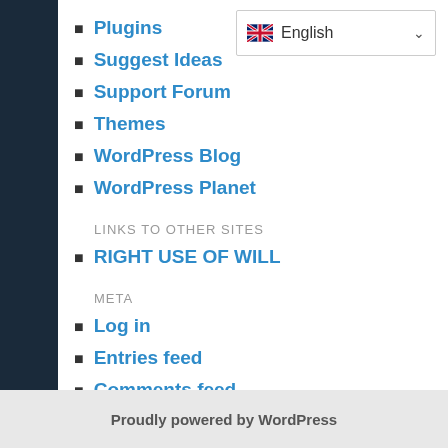Plugins
Suggest Ideas
Support Forum
Themes
WordPress Blog
WordPress Planet
LINKS TO OTHER SITES
RIGHT USE OF WILL
META
Log in
Entries feed
Comments feed
WordPress.org
Proudly powered by WordPress